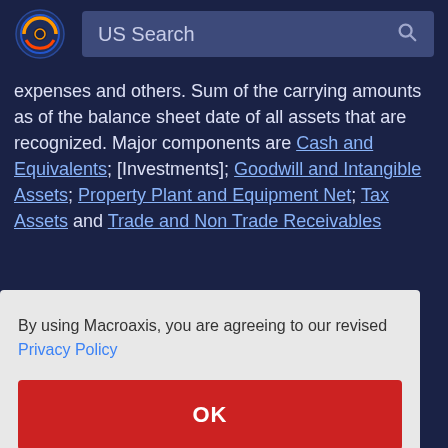US Search
expenses and others. Sum of the carrying amounts as of the balance sheet date of all assets that are recognized. Major components are Cash and Equivalents; [Investments]; Goodwill and Intangible Assets; Property Plant and Equipment Net; Tax Assets and Trade and Non Trade Receivables
By using Macroaxis, you are agreeing to our revised Privacy Policy
OK
on to total of bles from officers; directors; owners; and affiliates of the entity